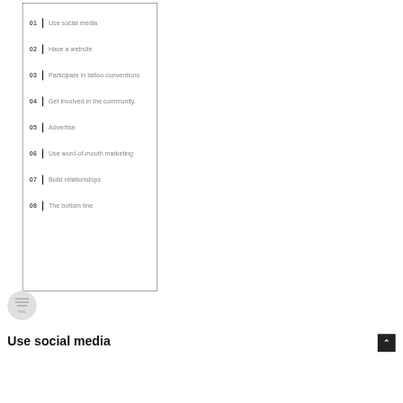01 | Use social media
02 | Have a website
03 | Participate in tattoo conventions
04 | Get involved in the community.
05 | Advertise
06 | Use word-of-mouth marketing
07 | Build relationships
08 | The bottom line
Use social media